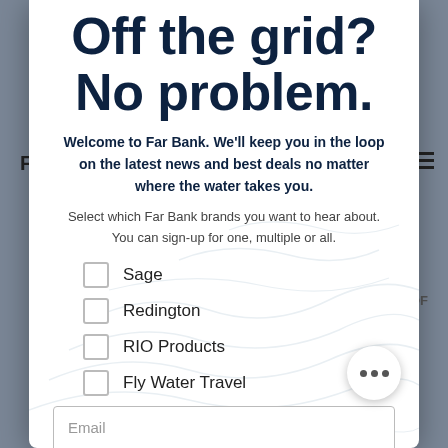Off the grid?
No problem.
Welcome to Far Bank. We'll keep you in the loop on the latest news and best deals no matter where the water takes you.
Select which Far Bank brands you want to hear about. You can sign-up for one, multiple or all.
Sage
Redington
RIO Products
Fly Water Travel
Email